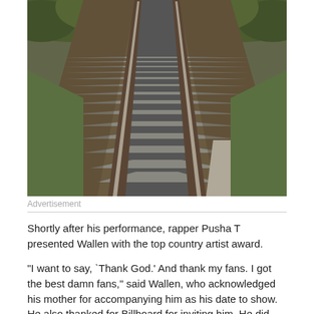[Figure (photo): Aerial/low-angle view of two parallel railroad tracks receding into the distance, flanked by green vegetation and trees on both sides, motion blur on the tracks suggesting movement.]
Advertisement
Shortly after his performance, rapper Pusha T presented Wallen with the top country artist award.
“I want to say, `Thank God.’ And thank my fans. I got the best damn fans,” said Wallen, who acknowledged his mother for accompanying him as his date to show. He also thanked for Billboard for inviting him. He did not mention last year’s incident, which once found the disgraced singer rebuked by